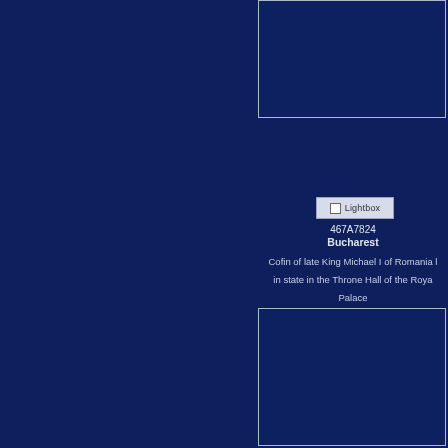[Figure (photo): Top image placeholder with dark navy background and white border, right column top]
[Figure (other): Lightbox UI button with checkbox and label]
467A7824
Bucharest
Cofin of late King Michael I of Romania lying in state in the Throne Hall of the Royal Palace
[Figure (photo): Bottom image placeholder with dark navy background and white border, right column bottom]